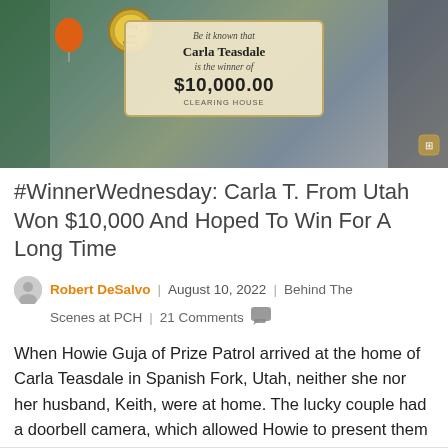[Figure (photo): Photo showing a large check for Carla Teasdale for $10,000.00 at a Clearing House event, with orange balloons and a PCH seal visible in the background.]
#WinnerWednesday: Carla T. From Utah Won $10,000 And Hoped To Win For A Long Time
Robert DeSalvo | August 10, 2022 | Behind The Scenes at PCH | 21 Comments
When Howie Guja of Prize Patrol arrived at the home of Carla Teasdale in Spanish Fork, Utah, neither she nor her husband, Keith, were at home. The lucky couple had a doorbell camera, which allowed Howie to present them with a check for $10,000 while they were driving in their car. “I am so excited,” [...]